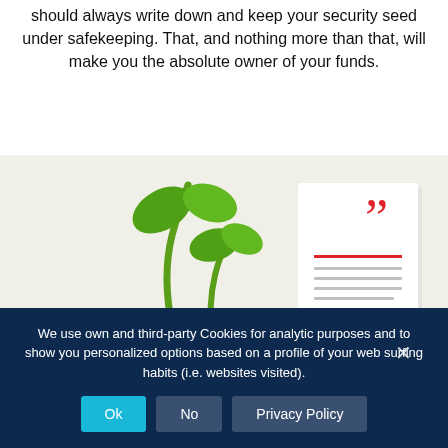should always write down and keep your security seed under safekeeping. That, and nothing more than that, will make you the absolute owner of your funds.
[Figure (illustration): A plant seedling growing from soil against a light background, with a white quote card in the upper right corner featuring red quotation marks, a red underline, and gray text lines.]
We use own and third-party Cookies for analytic purposes and to show you personalized options based on a profile of your web surfing habits (i.e. websites visited).